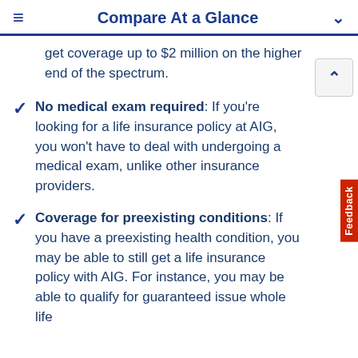Compare At a Glance
get coverage up to $2 million on the higher end of the spectrum.
No medical exam required: If you're looking for a life insurance policy at AIG, you won't have to deal with undergoing a medical exam, unlike other insurance providers.
Coverage for preexisting conditions: If you have a preexisting health condition, you may be able to still get a life insurance policy with AIG. For instance, you may be able to qualify for guaranteed issue whole life